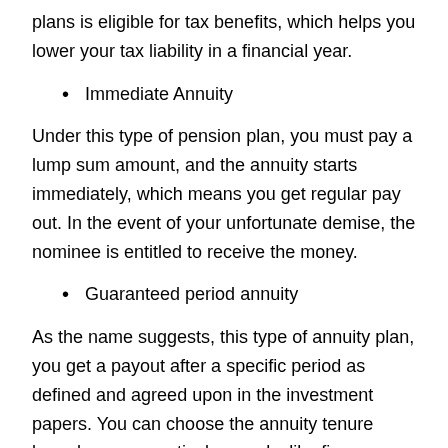plans is eligible for tax benefits, which helps you lower your tax liability in a financial year.
Immediate Annuity
Under this type of pension plan, you must pay a lump sum amount, and the annuity starts immediately, which means you get regular pay out. In the event of your unfortunate demise, the nominee is entitled to receive the money.
Guaranteed period annuity
As the name suggests, this type of annuity plan, you get a payout after a specific period as defined and agreed upon in the investment papers. You can choose the annuity tenure based on your particular needs, like five years, ten years, or 15 years.